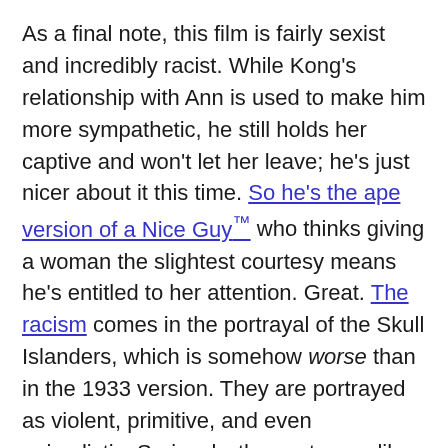As a final note, this film is fairly sexist and incredibly racist. While Kong's relationship with Ann is used to make him more sympathetic, he still holds her captive and won't let her leave; he's just nicer about it this time. So he's the ape version of a Nice Guy™ who thinks giving a woman the slightest courtesy means he's entitled to her attention. Great. The racism comes in the portrayal of the Skull Islanders, which is somehow worse than in the 1933 version. They are portrayed as violent, primitive, and even animalistic. Seriously, they act more like animals than people. I can't say for sure that this contributed to the film's low audience score, but I'd like to think it did.